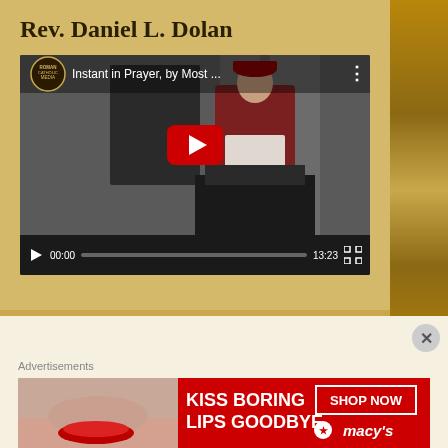Rev. Daniel L. Dolan
[Figure (screenshot): YouTube video player showing 'Instant in Prayer, by Most ...' with Roman Catholic Media logo, a clergyman in vestments visible in the thumbnail, red play button overlay, progress bar at 00:00, duration 13:23]
Advertisements
[Figure (photo): Macy's advertisement banner: 'KISS BORING LIPS GOODBYE' with red lipstick model photo and 'SHOP NOW' button with Macy's star logo on red background]